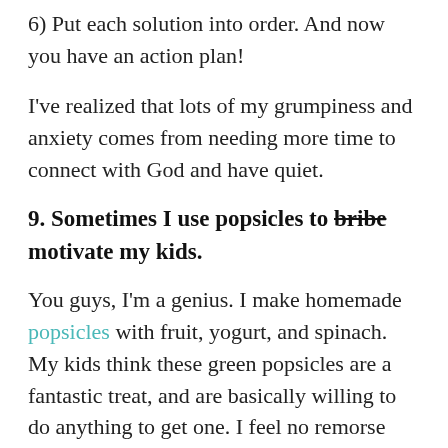6) Put each solution into order. And now you have an action plan!
I've realized that lots of my grumpiness and anxiety comes from needing more time to connect with God and have quiet.
9. Sometimes I use popsicles to bribe motivate my kids.
You guys, I'm a genius. I make homemade popsicles with fruit, yogurt, and spinach. My kids think these green popsicles are a fantastic treat, and are basically willing to do anything to get one. I feel no remorse over this.